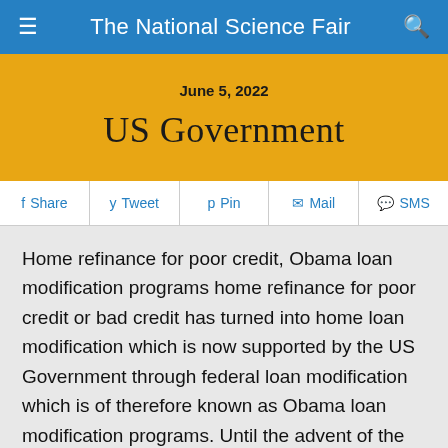The National Science Fair
June 5, 2022
US Government
Share  Tweet  Pin  Mail  SMS
Home refinance for poor credit, Obama loan modification programs home refinance for poor credit or bad credit has turned into home loan modification which is now supported by the US Government through federal loan modification which is of therefore known as Obama loan modification programs. Until the advent of the Government loan